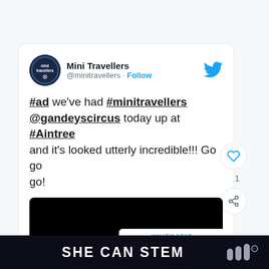[Figure (screenshot): Tweet from Mini Travellers (@minitravellers) with Follow button and Twitter bird logo. Tweet text: '#ad we've had #minitravellers @gandeyscircus today up at #Aintree and it's looked utterly incredible!!! Go go go!' with an embedded video showing 'Watch on Twitter' overlay and a 'WHAT'S NEXT → Review | Giffords...' suggestion card. Heart/like (1) and share buttons visible on the right side.]
SHE CAN STEM